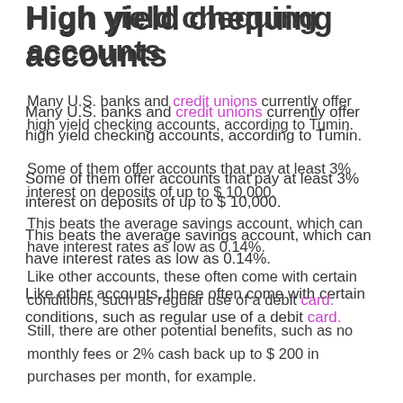High yield chequing accounts
Many U.S. banks and credit unions currently offer high yield checking accounts, according to Tumin.
Some of them offer accounts that pay at least 3% interest on deposits of up to $ 10,000.
This beats the average savings account, which can have interest rates as low as 0.14%.
Like other accounts, these often come with certain conditions, such as regular use of a debit card.
Still, there are other potential benefits, such as no monthly fees or 2% cash back up to $ 200 in purchases per month, for example.
Savings bonds
Investing in I bonds offers a particular advantage in today’s environment because they are indexed to inflation, according to Tumin.